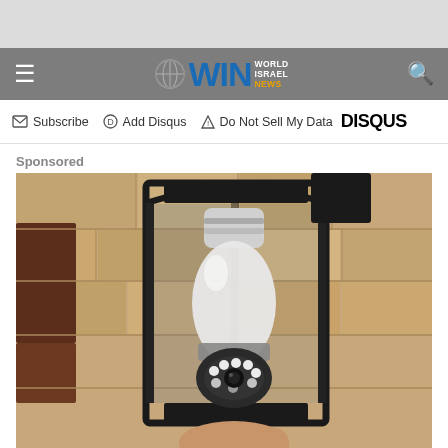[Figure (other): Gray advertisement banner at top of page]
WIN World Israel News — navigation bar with hamburger menu, logo, and search icon
Subscribe  Add Disqus  Do Not Sell My Data  DISQUS
Sponsored
[Figure (photo): A security camera disguised as a light bulb installed inside an outdoor black lantern fixture mounted on a stone/brick wall]